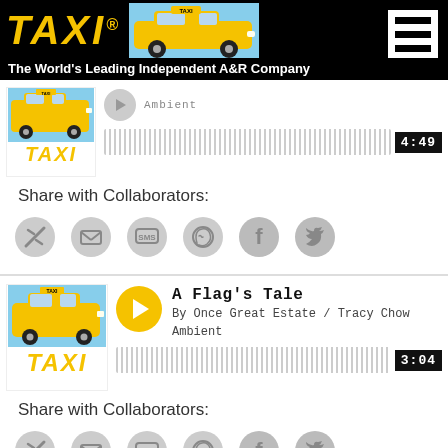[Figure (logo): TAXI logo with yellow taxi car and hamburger menu on black header background]
The World's Leading Independent A&R Company
[Figure (screenshot): Partial music track player with album art (TAXI logo), waveform, and time badge 4:49]
Share with Collaborators:
[Figure (illustration): Share icons: link, email, SMS, WhatsApp, Facebook, Twitter]
[Figure (screenshot): Music track player for 'A Flag's Tale' by Once Great Estate / Tracy Chow, genre Ambient, time 3:04, with yellow play button and waveform]
Share with Collaborators:
[Figure (illustration): Share icons: link, email, SMS, WhatsApp, Facebook, Twitter]